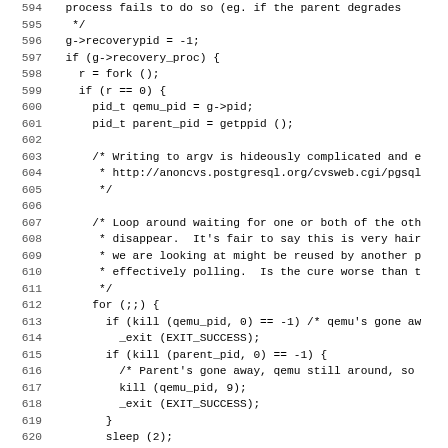Source code listing, lines 594-626, showing C code for recovery process forking logic in a virtualization context.